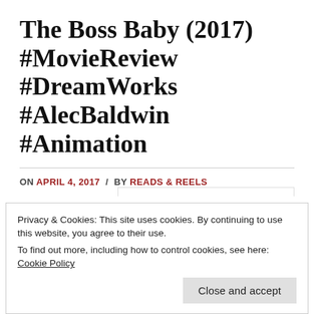The Boss Baby (2017) #MovieReview #DreamWorks #AlecBaldwin #Animation
ON APRIL 4, 2017 / BY READS & REELS
Movie Review
Privacy & Cookies: This site uses cookies. By continuing to use this website, you agree to their use.
To find out more, including how to control cookies, see here: Cookie Policy